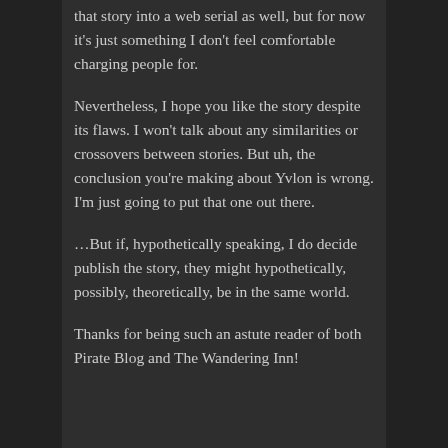that story into a web serial as well, but for now it's just something I don't feel comfortable charging people for.
Nevertheless, I hope you like the story despite its flaws. I won't talk about any similarities or crossovers between stories. But uh, the conclusion you're making about Yvlon is wrong. I'm just going to put that one out there.
…But if, hypothetically speaking, I do decide publish the story, they might hypothetically, possibly, theoretically, be in the same world.
Thanks for being such an astute reader of both Pirate Blog and The Wandering Inn!